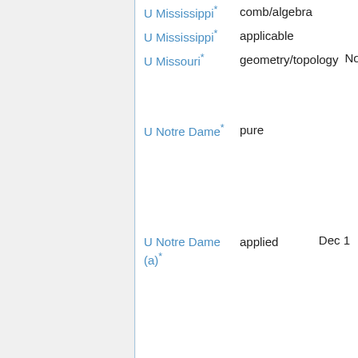U Mississippi* comb/algebra
U Mississippi* applicable
U Missouri* geometry/topology Nov 25
U Notre Dame* pure
U Notre Dame (a)* applied Dec 1